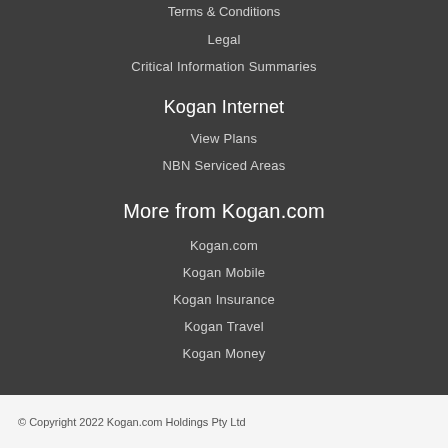Terms & Conditions
Legal
Critical Information Summaries
Kogan Internet
View Plans
NBN Serviced Areas
More from Kogan.com
Kogan.com
Kogan Mobile
Kogan Insurance
Kogan Travel
Kogan Money
© Copyright 2022 Kogan.com Holdings Pty Ltd